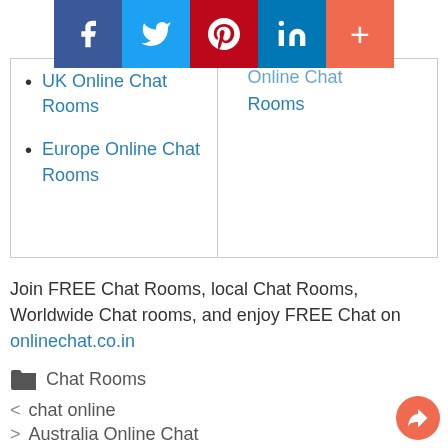[Figure (infographic): Social sharing bar with Facebook (blue), Twitter (light blue), Pinterest (dark red), LinkedIn (blue), and More (orange-red) buttons]
UK Online Chat Rooms
Europe Online Chat Rooms
Online Chat Rooms (partially visible, right column)
Join FREE Chat Rooms, local Chat Rooms, Worldwide Chat rooms, and enjoy FREE Chat on onlinechat.co.in
Chat Rooms
< chat online
> Australia Online Chat